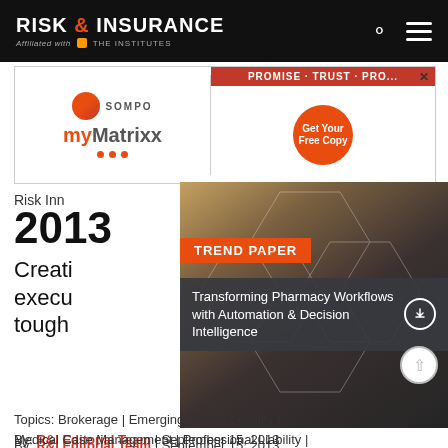RISK & INSURANCE — Affiliated with THE INSTITUTES
[Figure (advertisement): Ad banner: Sompo / myMatrixx and PROMISE · TRUST · PRO... with Get Your Free Copy button]
Risk Inn
2013
Creating... executing... the tough...
[Figure (illustration): Technology/hexagon overlay image with TREND PAPER label and 'Transforming Pharmacy Workflows with Automation & Decision Intelligence' text]
By: R&I Editorial Team | September 15, 2013
Topics: Brokerage | Emerging Risks | Liability | Medical Case Management | Professional Liability |